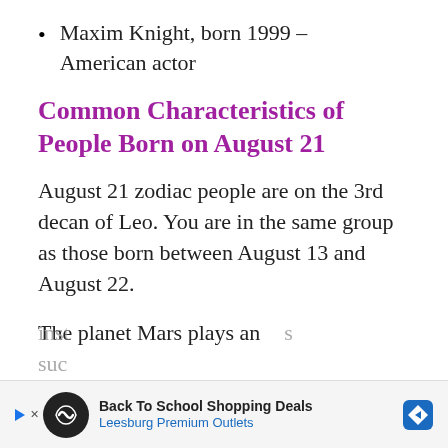Maxim Knight, born 1999 – American actor
Common Characteristics of People Born on August 21
August 21 zodiac people are on the 3rd decan of Leo. You are in the same group as those born between August 13 and August 22.
The planet Mars plays an
ins...s
suc...
[Figure (other): Advertisement banner: Back To School Shopping Deals – Leesburg Premium Outlets, with play button, circular icon, and diamond navigation icon]